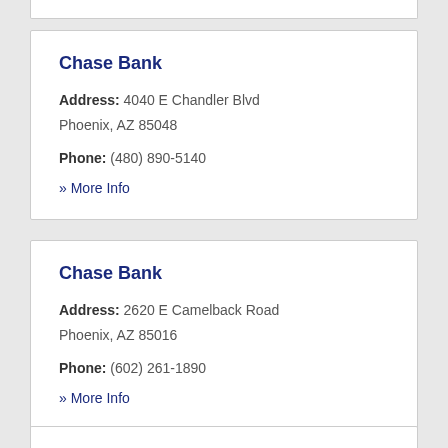Chase Bank
Address: 4040 E Chandler Blvd
Phoenix, AZ 85048
Phone: (480) 890-5140
» More Info
Chase Bank
Address: 2620 E Camelback Road
Phoenix, AZ 85016
Phone: (602) 261-1890
» More Info